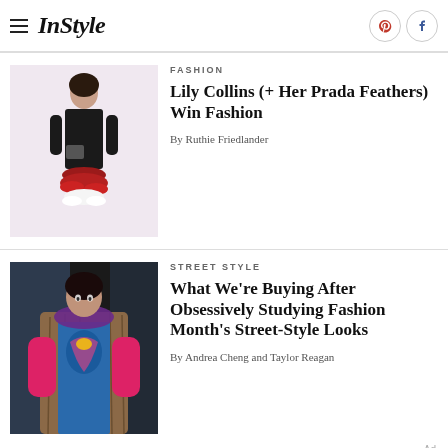InStyle
[Figure (photo): Fashion photo of a woman in a black vest with a red feathered skirt holding a small handbag, pink background]
FASHION
Lily Collins (+ Her Prada Feathers) Win Fashion
By Ruthie Friedlander
[Figure (photo): Street style photo of a woman wearing a colorful blue patterned shirt, fur vest, and pink sleeves]
STREET STYLE
What We're Buying After Obsessively Studying Fashion Month's Street-Style Looks
By Andrea Cheng and Taylor Reagan
Ad